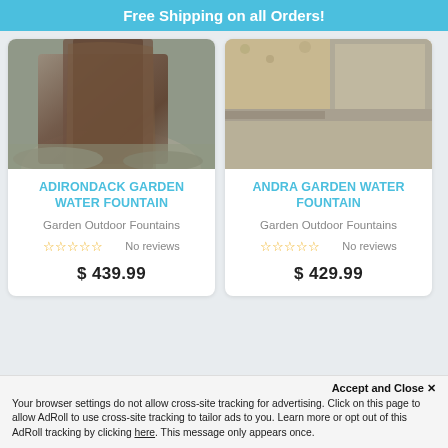Free Shipping on all Orders!
ADIRONDACK GARDEN WATER FOUNTAIN
Garden Outdoor Fountains
No reviews
$ 439.99
ANDRA GARDEN WATER FOUNTAIN
Garden Outdoor Fountains
No reviews
$ 429.99
Accept and Close ✕
Your browser settings do not allow cross-site tracking for advertising. Click on this page to allow AdRoll to use cross-site tracking to tailor ads to you. Learn more or opt out of this AdRoll tracking by clicking here. This message only appears once.